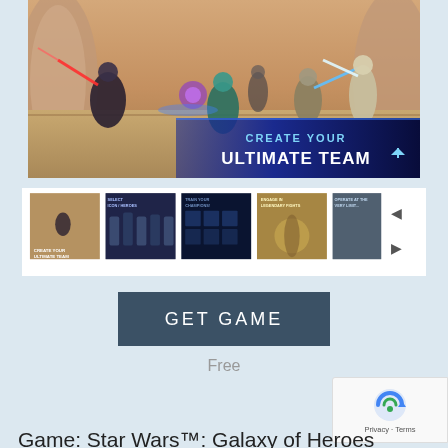[Figure (screenshot): Star Wars Galaxy of Heroes game screenshot showing characters fighting in a sandy arena. Blue banner overlay reads CREATE YOUR ULTIMATE TEAM.]
[Figure (screenshot): Row of 5 thumbnail screenshots from Star Wars Galaxy of Heroes game, with left/right navigation arrows.]
[Figure (other): GET GAME button in dark blue-grey color]
Free
[Figure (other): reCAPTCHA badge with Privacy and Terms links]
Game: Star Wars™: Galaxy of Heroes